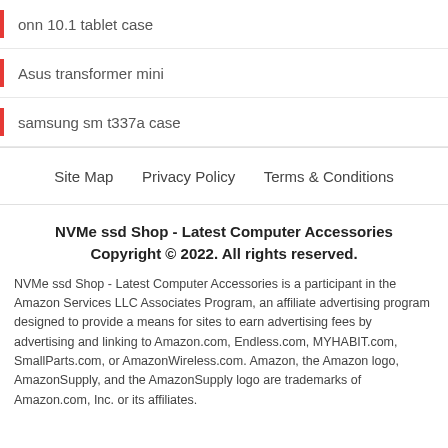onn 10.1 tablet case
Asus transformer mini
samsung sm t337a case
Site Map    Privacy Policy    Terms & Conditions
NVMe ssd Shop - Latest Computer Accessories
Copyright © 2022. All rights reserved.
NVMe ssd Shop - Latest Computer Accessories is a participant in the Amazon Services LLC Associates Program, an affiliate advertising program designed to provide a means for sites to earn advertising fees by advertising and linking to Amazon.com, Endless.com, MYHABIT.com, SmallParts.com, or AmazonWireless.com. Amazon, the Amazon logo, AmazonSupply, and the AmazonSupply logo are trademarks of Amazon.com, Inc. or its affiliates.